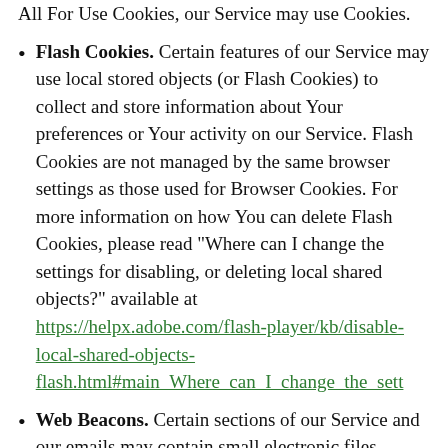Flash Cookies. Certain features of our Service may use local stored objects (or Flash Cookies) to collect and store information about Your preferences or Your activity on our Service. Flash Cookies are not managed by the same browser settings as those used for Browser Cookies. For more information on how You can delete Flash Cookies, please read "Where can I change the settings for disabling, or deleting local shared objects?" available at https://helpx.adobe.com/flash-player/kb/disable-local-shared-objects-flash.html#main_Where_can_I_change_the_sett
Web Beacons. Certain sections of our Service and our emails may contain small electronic files known as web beacons (also referred to as clear gifs, pixel tags, and single-pixel gifs) that permit